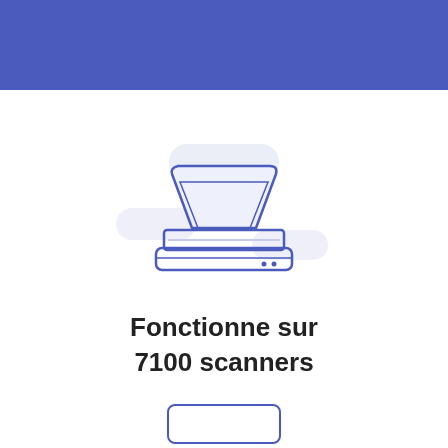[Figure (illustration): A flatbed scanner icon with a blue outline, shown open (lid raised), with soft blue rounded rectangle decorative shapes behind it on a white background.]
Fonctionne sur 7100 scanners